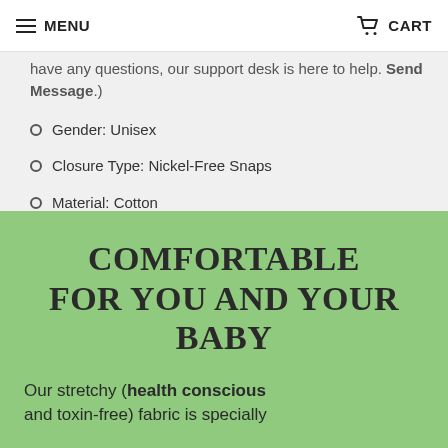MENU   CART
have any questions, our support desk is here to help. Send Message.)
Gender: Unisex
Closure Type: Nickel-Free Snaps
Material: Cotton
COMFORTABLE FOR YOU AND YOUR BABY
Our stretchy (health conscious and toxin-free) fabric is specially